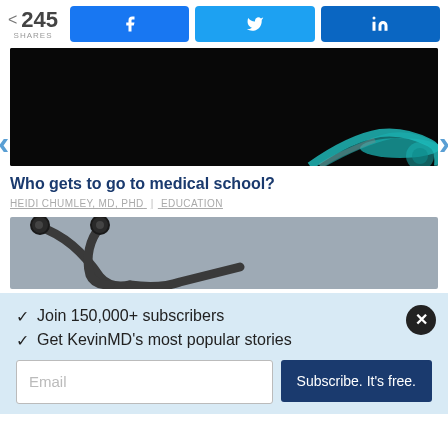245 SHARES | Facebook share | Twitter share | LinkedIn share
[Figure (photo): Stethoscope on dark black background with teal/turquoise stethoscope head visible in lower right corner]
Who gets to go to medical school?
HEIDI CHUMLEY, MD, PHD | EDUCATION
[Figure (photo): Close-up of stethoscope on grey surface]
✓  Join 150,000+ subscribers
✓  Get KevinMD's most popular stories
Email  |  Subscribe. It's free.